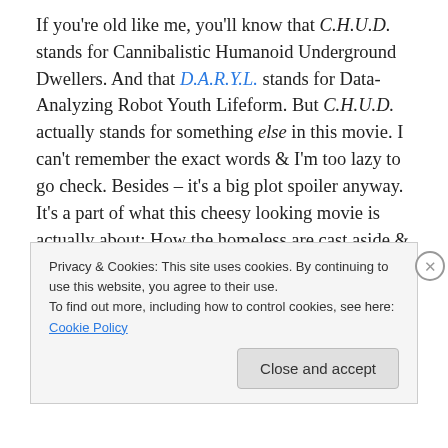If you're old like me, you'll know that C.H.U.D. stands for Cannibalistic Humanoid Underground Dwellers. And that D.A.R.Y.L. stands for Data-Analyzing Robot Youth Lifeform. But C.H.U.D. actually stands for something else in this movie. I can't remember the exact words & I'm too lazy to go check. Besides – it's a big plot spoiler anyway. It's a part of what this cheesy looking movie is actually about: How the homeless are cast aside & ignored in society. The problem of these mutant cannibals crawling out of the sewers & killing people is completely ignored while it's at first only affecting the homeless community.
Privacy & Cookies: This site uses cookies. By continuing to use this website, you agree to their use. To find out more, including how to control cookies, see here: Cookie Policy